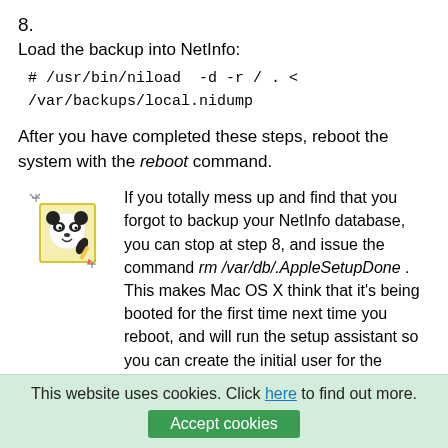8.
Load the backup into NetInfo:
After you have completed these steps, reboot the system with the reboot command.
[Figure (illustration): A cartoon panda mascot icon on a yellow sticky note background with sparkles]
If you totally mess up and find that you forgot to backup your NetInfo database, you can stop at step 8, and issue the command rm /var/db/.AppleSetupDone . This makes Mac OS X think that it's being booted for the first time next time you reboot, and will run the setup assistant so you can create the initial user for the system, bringing your system to a usable
This website uses cookies. Click here to find out more.
Accept cookies